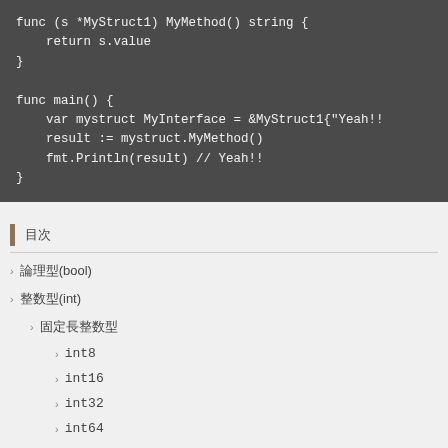[Figure (screenshot): Code block showing Go language code with func (s *MyStruct1) MyMethod() string and func main() on dark background]
目次
論理型(bool)
整数型(int)
固定長整数型
int8
int16
int32
int64
符号なし整数型